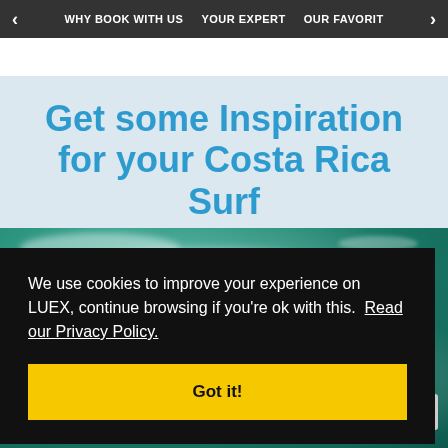< WHY BOOK WITH US   YOUR EXPERT   OUR FAVORITE >
Get some Inspiration for your Costa Rica Surf Trip
[Figure (photo): Aerial view of ocean waves and surf, teal/green water with white foam]
We use cookies to improve your experience on LUEX, continue browsing if you're ok with this. Read our Privacy Policy.
Got it!